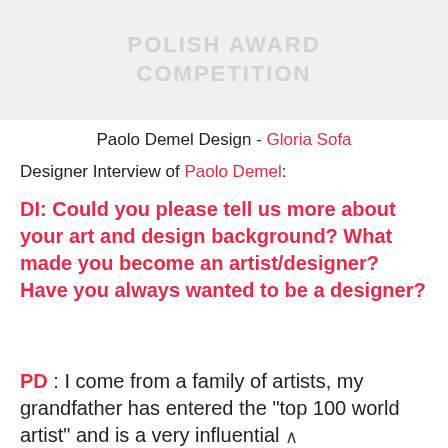[Figure (photo): Faded watermark/logo image at top of page with text 'POLISH AWARD COMPETITION' or similar, shown in light gray tones]
Paolo Demel Design - Gloria Sofa
Designer Interview of Paolo Demel:
DI: Could you please tell us more about your art and design background? What made you become an artist/designer? Have you always wanted to be a designer?
PD : I come from a family of artists, my grandfather has entered the "top 100 world artist" and is a very influential person in the art world, my father is